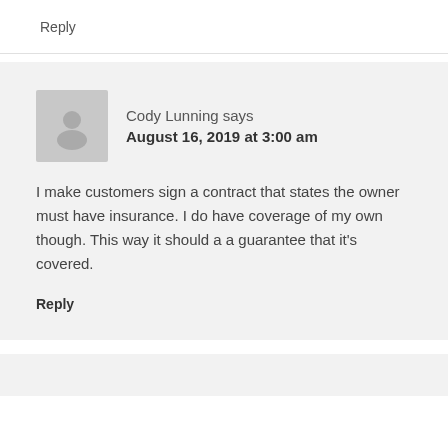Reply
Cody Lunning says
August 16, 2019 at 3:00 am
I make customers sign a contract that states the owner must have insurance. I do have coverage of my own though. This way it should a a guarantee that it's covered.
Reply